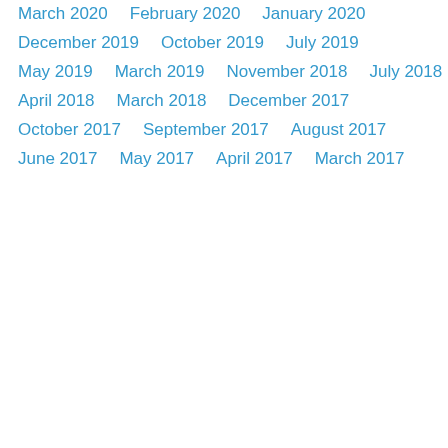March 2020
February 2020
January 2020
December 2019
October 2019
July 2019
May 2019
March 2019
November 2018
July 2018
April 2018
March 2018
December 2017
October 2017
September 2017
August 2017
June 2017
May 2017
April 2017
March 2017